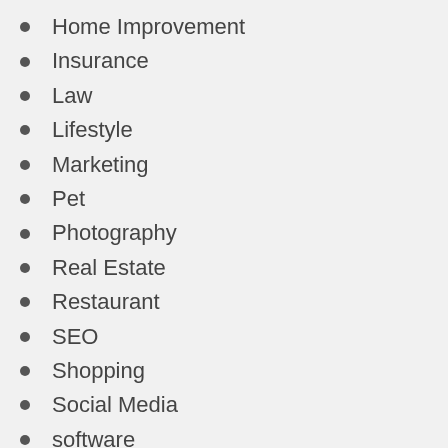Home Improvement
Insurance
Law
Lifestyle
Marketing
Pet
Photography
Real Estate
Restaurant
SEO
Shopping
Social Media
software
Sports
Technology